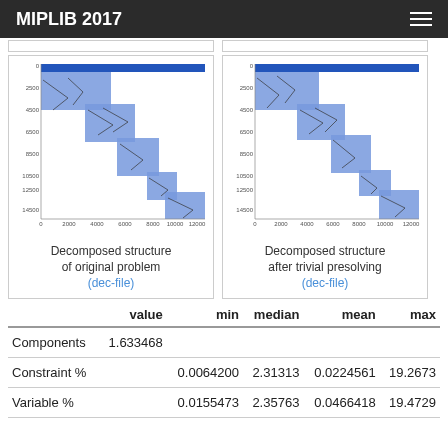MIPLIB 2017
[Figure (other): Decomposed structure matrix visualization of original problem - block diagonal sparse matrix pattern shown as blue shaded blocks on white background with row/column axis labels]
Decomposed structure of original problem (dec-file)
[Figure (other): Decomposed structure matrix visualization after trivial presolving - block diagonal sparse matrix pattern shown as blue shaded blocks on white background with row/column axis labels]
Decomposed structure after trivial presolving (dec-file)
|  | value | min | median | mean | max |
| --- | --- | --- | --- | --- | --- |
| Components | 1.633468 |  |  |  |  |
| Constraint % |  | 0.0064200 | 2.31313 | 0.0224561 | 19.2673 |
| Variable % |  | 0.0155473 | 2.35763 | 0.0466418 | 19.4729 |